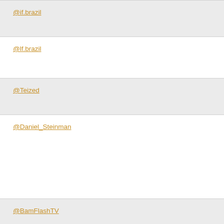@if.brazil
@lf.brazil
@Teized
@Daniel_Steinman
@BamFlashTV